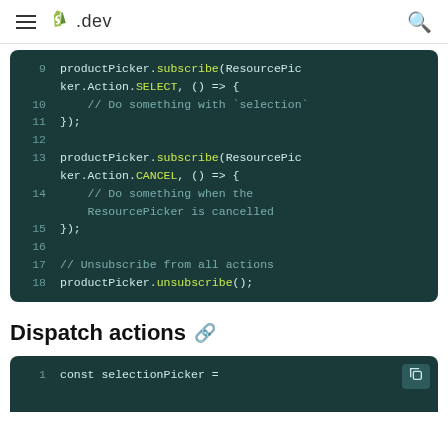≡ shopify .dev 🔍
[Figure (screenshot): Code block showing lines 9-18 of JavaScript: productPicker.subscribe(ResourcePicker.Action.SELECT, () => { // Do something with `selection` }); productPicker.subscribe(ResourcePicker.Action.CANCEL, () => { // Do something when the ResourcePicker is cancelled }); // Unsubscribe from all actions productPicker.unsubscribe();]
Dispatch actions
[Figure (screenshot): Bottom of page showing start of another code block with line 1: const selectionPicker = (partial, cut off)]